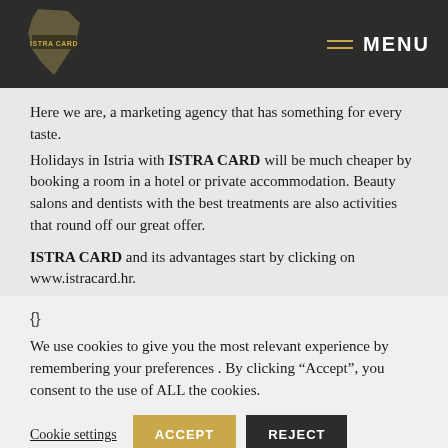ISTRA CARD — MENU
Here we are, a marketing agency that has something for every taste.
Holidays in Istria with ISTRA CARD will be much cheaper by booking a room in a hotel or private accommodation. Beauty salons and dentists with the best treatments are also activities that round off our great offer.

ISTRA CARD and its advantages start by clicking on www.istracard.hr.
Our platform enables the presentation of our current and
{}
We use cookies to give you the most relevant experience by remembering your preferences . By clicking “Accept”, you consent to the use of ALL the cookies.
Cookie settings   ACCEPT   REJECT